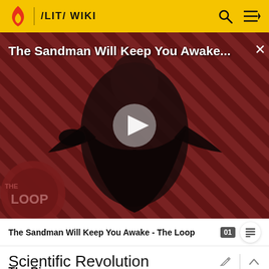/LIT/ WIKI
[Figure (screenshot): Video thumbnail showing a dark-cloaked figure against a red and black striped background, with a play button in the center, 'The Loop' badge at bottom left, and title overlay 'The Sandman Will Keep You Awake...' with an X close button.]
The Sandman Will Keep You Awake - The Loop
Scientific Revolution
The Rise